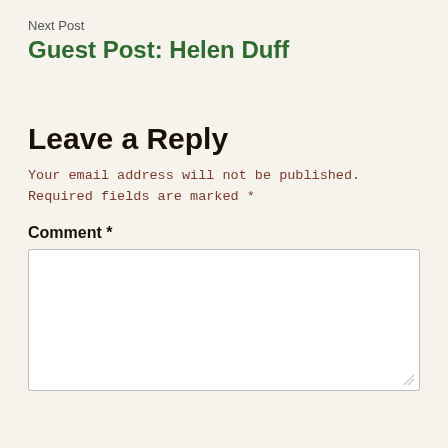Next Post
Guest Post: Helen Duff
Leave a Reply
Your email address will not be published. Required fields are marked *
Comment *
[Figure (other): Empty comment text area input box]